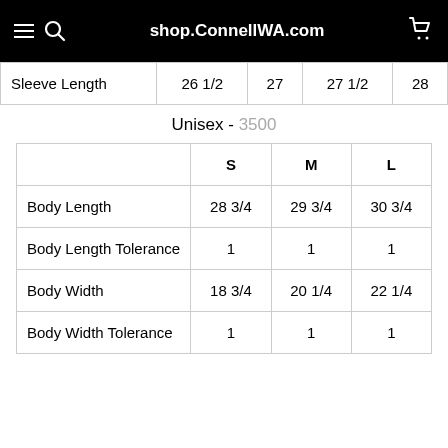shop.ConnellWA.com
|  | S | M | L |
| --- | --- | --- | --- |
| Sleeve Length | 26 1/2 | 27 | 27 1/2 | 28 |
Unisex - 3500
|  | S | M | L |
| --- | --- | --- | --- |
| Body Length | 28 3/4 | 29 3/4 | 30 3/4 |
| Body Length Tolerance | 1 | 1 | 1 |
| Body Width | 18 3/4 | 20 1/4 | 22 1/4 |
| Body Width Tolerance | 1 | 1 | 1 |